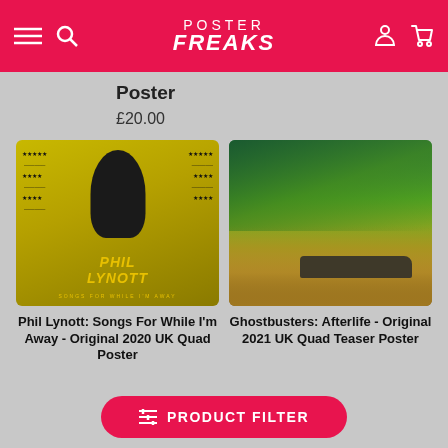POSTER FREAKS
Poster
£20.00
[Figure (photo): Phil Lynott: Songs For While I'm Away - Original 2020 UK Quad Poster product image on yellow background with silhouette figure and star ratings]
Phil Lynott: Songs For While I'm Away - Original 2020 UK Quad Poster
[Figure (photo): Ghostbusters: Afterlife - Original 2021 UK Quad Teaser Poster product image showing landscape with car]
Ghostbusters: Afterlife - Original 2021 UK Quad Teaser Poster
PRODUCT FILTER